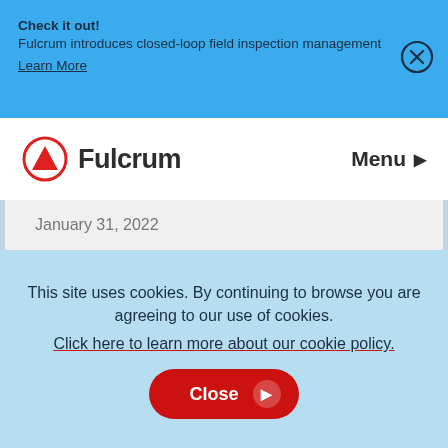Check it out! Fulcrum introduces closed-loop field inspection management Learn More
[Figure (logo): Fulcrum logo with red circle and upward triangle, followed by text 'Fulcrum']
Menu
January 31, 2022
This site uses cookies. By continuing to browse you are agreeing to our use of cookies. Click here to learn more about our cookie policy.
Close